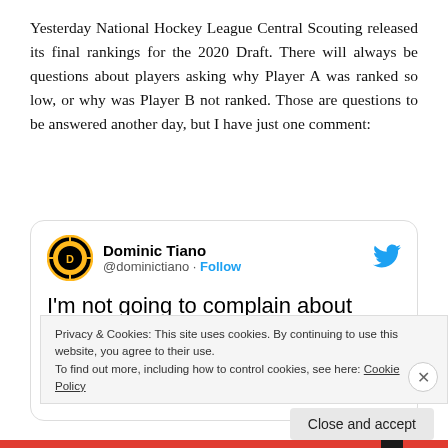Yesterday National Hockey League Central Scouting released its final rankings for the 2020 Draft. There will always be questions about players asking why Player A was ranked so low, or why was Player B not ranked. Those are questions to be answered another day, but I have just one comment:
[Figure (screenshot): Embedded tweet from @dominictiano (Dominic Tiano) with Boston Bruins profile picture and Twitter bird icon. Tweet text reads: "I'm not going to complain about @NHLCentralScout rankings. But if one thing stands out that's missing - should"]
Privacy & Cookies: This site uses cookies. By continuing to use this website, you agree to their use. To find out more, including how to control cookies, see here: Cookie Policy
Close and accept